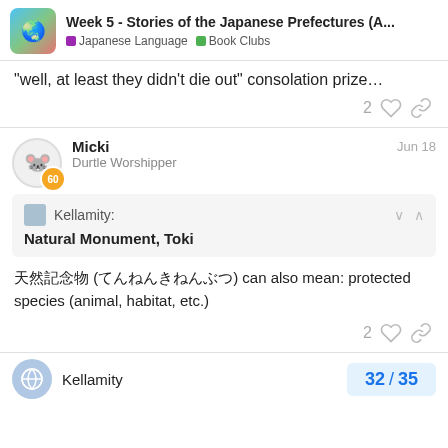Week 5 - Stories of the Japanese Prefectures (A... | Japanese Language | Book Clubs
"well, at least they didn't die out" consolation prize…
Micki  Durtle Worshipper  Jun 18
Kellamity:  Natural Monument, Toki
天然記念物 (てんねんきねんぶつ) can also mean: protected species (animal, habitat, etc.)
Kellamity  32 / 35